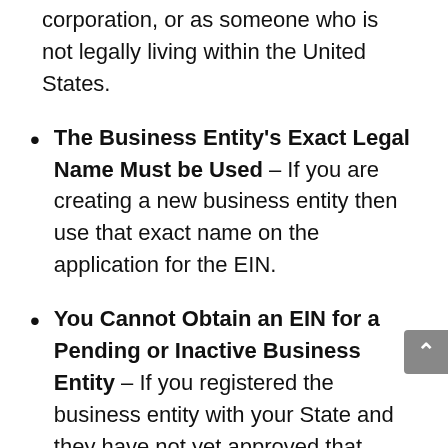corporation, or as someone who is not legally living within the United States.
The Business Entity's Exact Legal Name Must be Used – If you are creating a new business entity then use that exact name on the application for the EIN.
You Cannot Obtain an EIN for a Pending or Inactive Business Entity – If you registered the business entity with your State and they have not yet approved that registration, then you cannot apply for an EIN until they either approve or deny that registration. You will